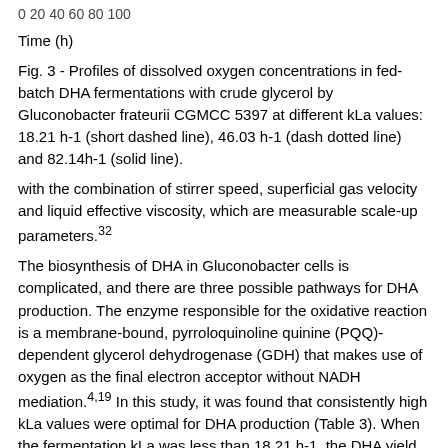0 20 40 60 80 100
Time (h)
Fig. 3 - Profiles of dissolved oxygen concentrations in fed-batch DHA fermentations with crude glycerol by Gluconobacter frateurii CGMCC 5397 at different kLa values: 18.21 h-1 (short dashed line), 46.03 h-1 (dash dotted line) and 82.14h-1 (solid line).
with the combination of stirrer speed, superficial gas velocity and liquid effective viscosity, which are measurable scale-up parameters.32
The biosynthesis of DHA in Gluconobacter cells is complicated, and there are three possible pathways for DHA production. The enzyme responsible for the oxidative reaction is a membrane-bound, pyrroloquinoline quinine (PQQ)-dependent glycerol dehydrogenase (GDH) that makes use of oxygen as the final electron acceptor without NADH mediation.4,19 In this study, it was found that consistently high kLa values were optimal for DHA production (Table 3). When the fermentation kLa was less than 18.21 h-1, the DHA yield was lower than